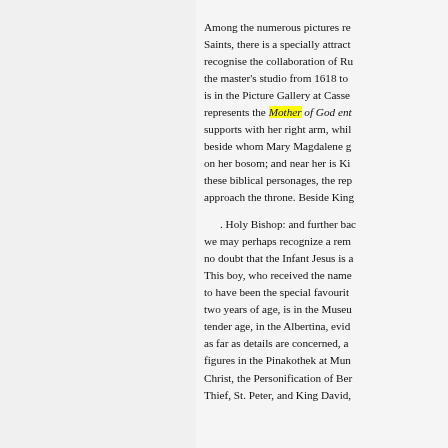Among the numerous pictures re Saints, there is a specially attract recognise the collaboration of Ru the master's studio from 1618 to is in the Picture Gallery at Casse represents the Mother of God ent supports with her right arm, whil beside whom Mary Magdalene g on her bosom; and near her is Ki these biblical personages, the rep approach the throne. Beside King . Holy Bishop: and further bac we may perhaps recognize a rem no doubt that the Infant Jesus is a This boy, who received the name to have been the special favourit two years of age, is in the Museu tender age, in the Albertina, evid as far as details are concerned, a figures in the Pinakothek at Mun Christ, the Personification of Ber Thief, St. Peter, and King David,